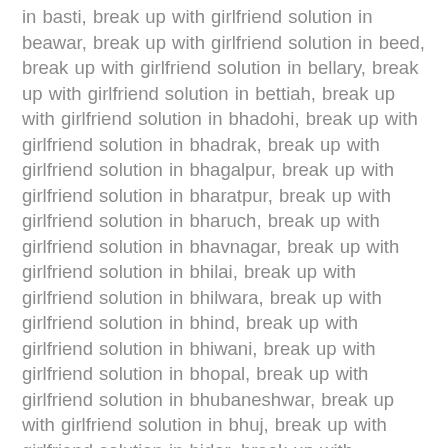in basti, break up with girlfriend solution in beawar, break up with girlfriend solution in beed, break up with girlfriend solution in bellary, break up with girlfriend solution in bettiah, break up with girlfriend solution in bhadohi, break up with girlfriend solution in bhadrak, break up with girlfriend solution in bhagalpur, break up with girlfriend solution in bharatpur, break up with girlfriend solution in bharuch, break up with girlfriend solution in bhavnagar, break up with girlfriend solution in bhilai, break up with girlfriend solution in bhilwara, break up with girlfriend solution in bhind, break up with girlfriend solution in bhiwani, break up with girlfriend solution in bhopal, break up with girlfriend solution in bhubaneshwar, break up with girlfriend solution in bhuj, break up with girlfriend solution in bidar, break up with girlfriend solution in bijapur, break up with girlfriend solution in bijnor, break up with girlfriend solution in bikaner, break up with girlfriend solution in bilaspur, break up with girlfriend solution in bilimora, break up with girlfriend solution in bodh gaya, break up with girlfriend solution in bokaro, break up with girlfriend solution in bundi, break up with girlfriend